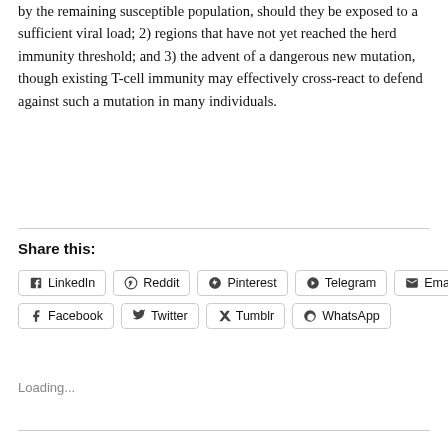by the remaining susceptible population, should they be exposed to a sufficient viral load; 2) regions that have not yet reached the herd immunity threshold; and 3) the advent of a dangerous new mutation, though existing T-cell immunity may effectively cross-react to defend against such a mutation in many individuals.
Share this:
LinkedIn  Reddit  Pinterest  Telegram  Email  Facebook  Twitter  Tumblr  WhatsApp
Loading...